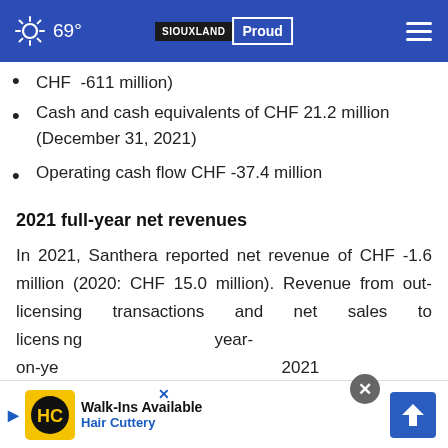69° SIOUXLAND Proud
CHF -611 million)
Cash and cash equivalents of CHF 21.2 million (December 31, 2021)
Operating cash flow CHF -37.4 million
2021 full-year net revenues
In 2021, Santhera reported net revenue of CHF -1.6 million (2020: CHF 15.0 million). Revenue from out-licensing transactions and net sales to licensees contributed to this year-on-year change. 2021